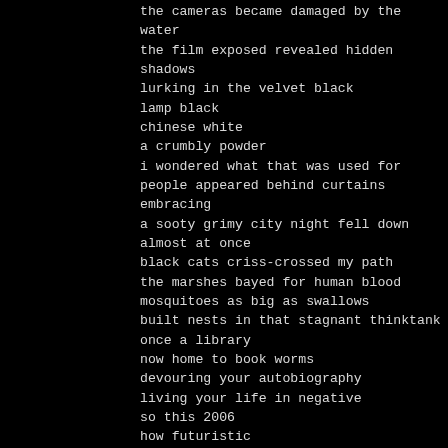the cameras became damaged by the water
the film exposed revealed hidden shadows
lurking in the velvet black
lamp black
chinese white
a crumbly powder
i wondered what that was used for
people appeared behind curtains embracing
a sooty grimy city night fell down almost at once
black cats criss-crossed my path
the marshes bayed for human blood
mosquitoes as big as swallows
built nests in that stagnant thinktank
once a library
now home to book worms
devouring your autobiography
living your life in negative
so this 2006
how futuristic
forever young
forever beautiful
forever surfing the present
into this future